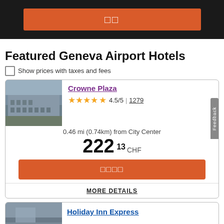[Figure (screenshot): Orange button with icons on dark/black background at top of page]
Featured Geneva Airport Hotels
Show prices with taxes and fees
[Figure (photo): Aerial photo of Crowne Plaza hotel building]
Crowne Plaza
4.5/5 | 1279
0.46 mi (0.74km) from City Center
222 13 CHF
MORE DETAILS
[Figure (photo): Holiday Inn Express hotel photo (partially visible)]
Holiday Inn Express